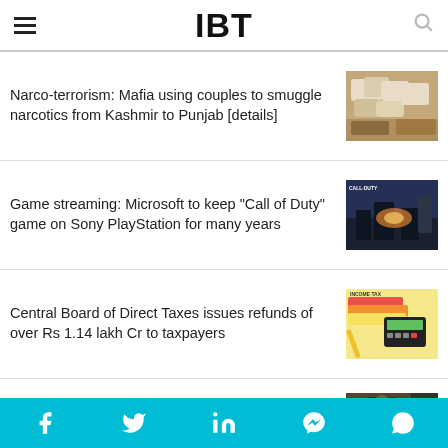IBT
Narco-terrorism: Mafia using couples to smuggle narcotics from Kashmir to Punjab [details]
[Figure (photo): Photo of narcotics packages on the ground]
Game streaming: Microsoft to keep "Call of Duty" game on Sony PlayStation for many years
[Figure (photo): Call of Duty game promotional art showing soldiers]
Central Board of Direct Taxes issues refunds of over Rs 1.14 lakh Cr to taxpayers
[Figure (photo): Photo of income tax documents, calculator, and colorful folders]
Mega 154: New schedule of Chiranjeevi's film with Ravi Teja begins
[Figure (photo): Photo of actor in traditional/period costume with red scarf]
Facebook Twitter LinkedIn Messenger WhatsApp